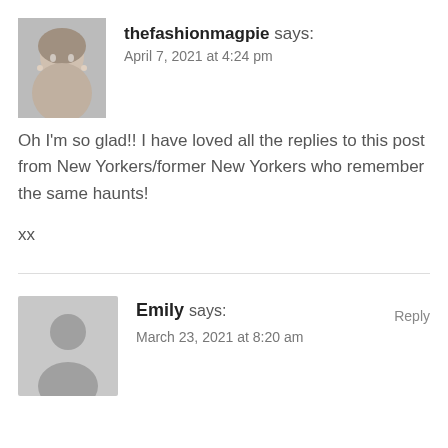[Figure (photo): Avatar photo of thefashionmagpie, a woman with blonde hair and earrings, black and white photo]
thefashionmagpie says:
April 7, 2021 at 4:24 pm
Oh I'm so glad!! I have loved all the replies to this post from New Yorkers/former New Yorkers who remember the same haunts!
xx
[Figure (illustration): Generic avatar placeholder silhouette of a person, gray background]
Emily says:
March 23, 2021 at 8:20 am
Reply